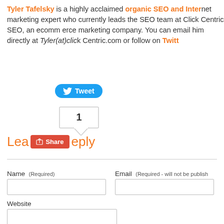Tyler Tafelsky is a highly acclaimed organic SEO and Internet marketing expert who currently leads the SEO team at Click Centric SEO, an ecommerce SEO and internet marketing company. You can email him directly at Tyler(at)clickcentricseo.com or follow on Twitt
[Figure (screenshot): Twitter Tweet button (blue rounded rectangle with bird icon and 'Tweet' label)]
[Figure (screenshot): Tweet count bubble showing the number 1]
Leave a Reply (with Google +1 Share button)
Name (Required)
Email (Required - will not be published)
Website
Message (Required)